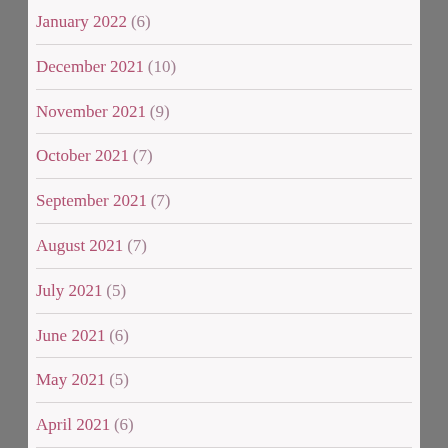January 2022 (6)
December 2021 (10)
November 2021 (9)
October 2021 (7)
September 2021 (7)
August 2021 (7)
July 2021 (5)
June 2021 (6)
May 2021 (5)
April 2021 (6)